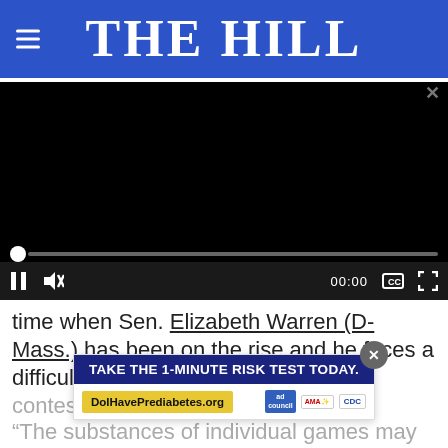THE HILL
[Figure (screenshot): Embedded video player with black screen, progress bar, and playback controls showing 00:00]
time when Sen. Elizabeth Warren (D-Mass.) has been on the rise and he faces a difficult contest in the Iowa caucuses.
[Figure (other): Advertisement overlay: TAKE THE 1-MINUTE RISK TEST TODAY. DoIHavePrediabetes.org with ad council, AMA, and CDC logos]
“The substances of individual games may be